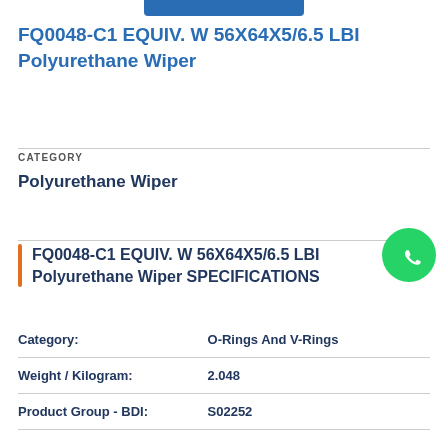FQ0048-C1 EQUIV. W 56X64X5/6.5 LBI Polyurethane Wiper
CATEGORY
Polyurethane Wiper
FQ0048-C1 EQUIV. W 56X64X5/6.5 LBI Polyurethane Wiper SPECIFICATIONS
| Field | Value |
| --- | --- |
| Category: | O-Rings And V-Rings |
| Weight / Kilogram: | 2.048 |
| Product Group - BDI: | S02252 |